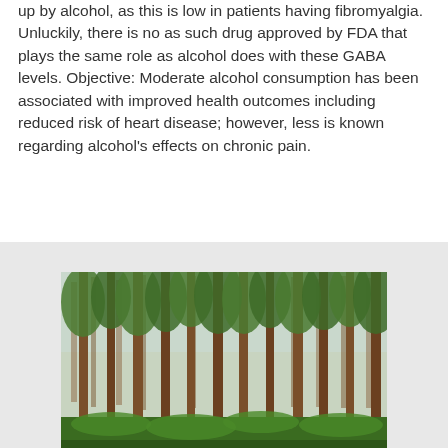up by alcohol, as this is low in patients having fibromyalgia. Unluckily, there is no as such drug approved by FDA that plays the same role as alcohol does with these GABA levels. Objective: Moderate alcohol consumption has been associated with improved health outcomes including reduced risk of heart disease; however, less is known regarding alcohol's effects on chronic pain.
[Figure (photo): A photograph of a dense forest with tall pine trees. The trees have straight trunks with reddish-brown bark and green foliage at the top. The forest floor has lush green undergrowth. The sky is pale and overcast.]